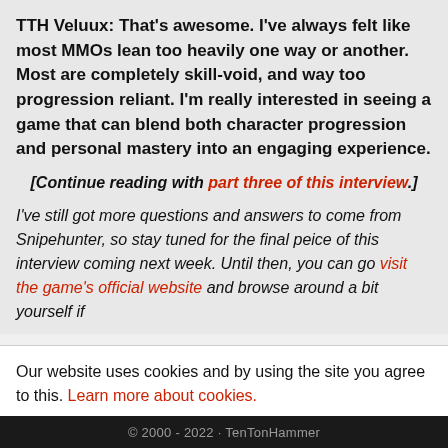TTH Veluux: That's awesome. I've always felt like most MMOs lean too heavily one way or another. Most are completely skill-void, and way too progression reliant. I'm really interested in seeing a game that can blend both character progression and personal mastery into an engaging experience.
[Continue reading with part three of this interview.]
I've still got more questions and answers to come from Snipehunter, so stay tuned for the final peice of this interview coming next week. Until then, you can go visit the game's official website and browse around a bit yourself if
Our website uses cookies and by using the site you agree to this. Learn more about cookies.
Close
© 2000 - 2022 · TenTonHammer